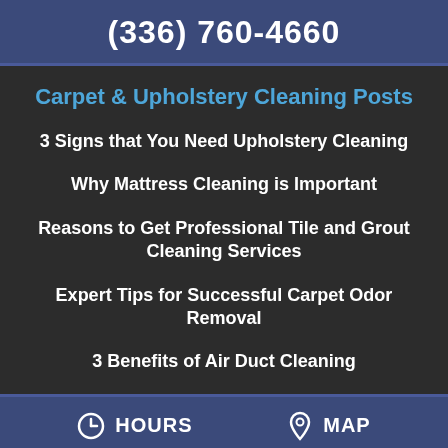(336) 760-4660
Carpet & Upholstery Cleaning Posts
3 Signs that You Need Upholstery Cleaning
Why Mattress Cleaning is Important
Reasons to Get Professional Tile and Grout Cleaning Services
Expert Tips for Successful Carpet Odor Removal
3 Benefits of Air Duct Cleaning
HOURS   MAP